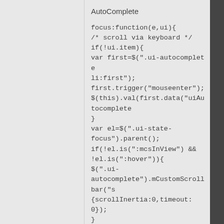AutoComplete
focus:function(e,ui){
/* scroll via keyboard */
if(!ui.item){
var first=$(".ui-autocomplete li:first");
first.trigger("mouseenter");
$(this).val(first.data("uiAutocomplete
}
var el=$(".ui-state-focus").parent();
if(!el.is(":mcsInView") && !el.is(":hover")){
$(".ui-autocomplete").mCustomScrollbar("s
{scrollInertia:0,timeout:0});
}
},
This code not working